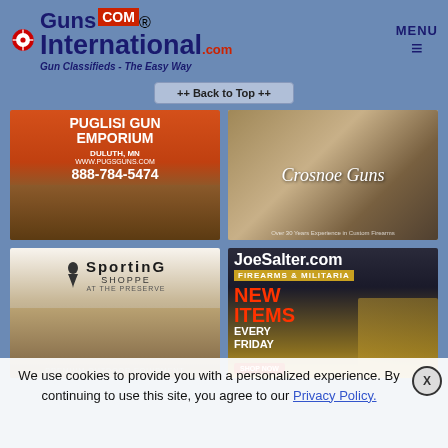GunsInternational.com - Gun Classifieds - The Easy Way | MENU
++ Back to Top ++
[Figure (photo): Puglisi Gun Emporium advertisement - Duluth, MN, www.pugsguns.com, 888-784-5474]
[Figure (photo): Crosnoe Guns advertisement with image of fine firearms]
[Figure (photo): Sporting Shoppe at the Preserve - Premium Outdoor Equipment]
[Figure (photo): JoeSalter.com - Firearms & Militaria - New Items Every Friday - Shop Now]
We use cookies to provide you with a personalized experience. By continuing to use this site, you agree to our Privacy Policy.